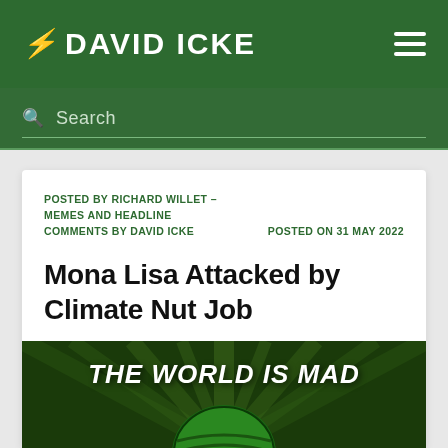DAVID ICKE
Search
POSTED BY RICHARD WILLET – MEMES AND HEADLINE COMMENTS BY DAVID ICKE   POSTED ON 31 MAY 2022
Mona Lisa Attacked by Climate Nut Job
[Figure (photo): Dark green background with radiating light rays and a watermelon globe at center, overlaid with bold white text 'THE WORLD IS MAD']